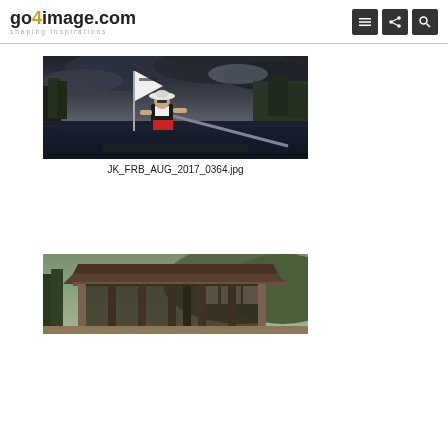go4image.com shaping inspirations
[Figure (photo): Rower wearing white hat and life vest celebrating with a flag on a lake, dark cloudy sky, trees and mountain buildings in background]
JK_FRB_AUG_2017_0364.jpg
[Figure (photo): Wooden covered bridge or pavilion structure with mountains and buildings visible in the background]